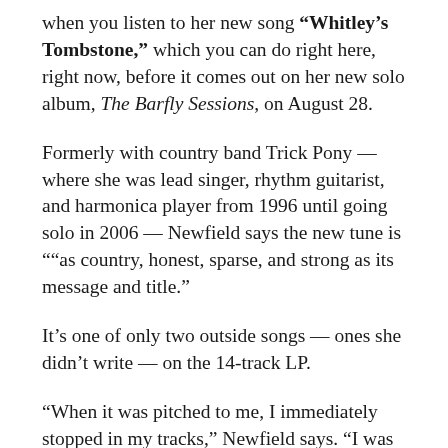when you listen to her new song “Whitley’s Tombstone,” which you can do right here, right now, before it comes out on her new solo album, The Barfly Sessions, on August 28.
Formerly with country band Trick Pony — where she was lead singer, rhythm guitarist, and harmonica player from 1996 until going solo in 2006 — Newfield says the new tune is ““as country, honest, sparse, and strong as its message and title.”
It’s one of only two outside songs — ones she didn’t write — on the 14-track LP.
“When it was pitched to me, I immediately stopped in my tracks,” Newfield says. “I was completely drawn in to the beautifully painful